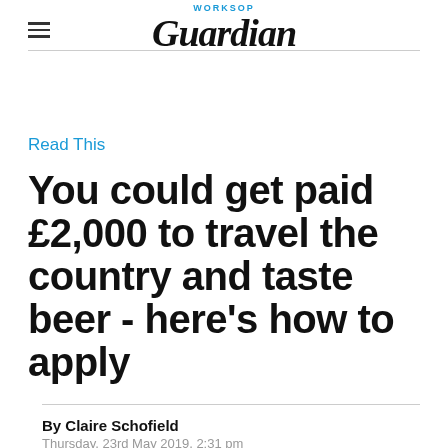WORKSOP Guardian
Read This
You could get paid £2,000 to travel the country and taste beer - here's how to apply
By Claire Schofield
Thursday, 23rd May 2019, 2:31 pm